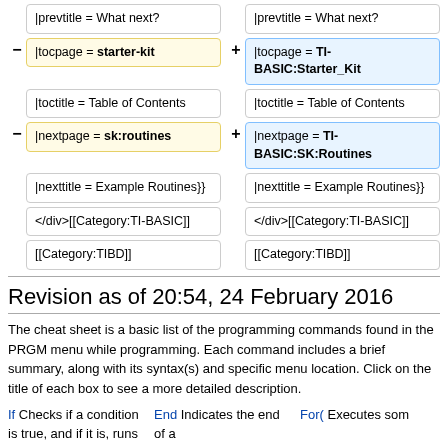|prevtitle = What next?
|prevtitle = What next?
|tocpage = starter-kit
|tocpage = TI-BASIC:Starter_Kit
|toctitle = Table of Contents
|toctitle = Table of Contents
|nextpage = sk:routines
|nextpage = TI-BASIC:SK:Routines
|nexttitle = Example Routines}}
|nexttitle = Example Routines}}
</div>[[Category:TI-BASIC]]
</div>[[Category:TI-BASIC]]
[[Category:TIBD]]
[[Category:TIBD]]
Revision as of 20:54, 24 February 2016
The cheat sheet is a basic list of the programming commands found in the PRGM menu while programming. Each command includes a brief summary, along with its syntax(s) and specific menu location. Click on the title of each box to see a more detailed description.
If Checks if a condition is true, and if it is, runs an optional statement or
End Indicates the end of a
For( Executes som